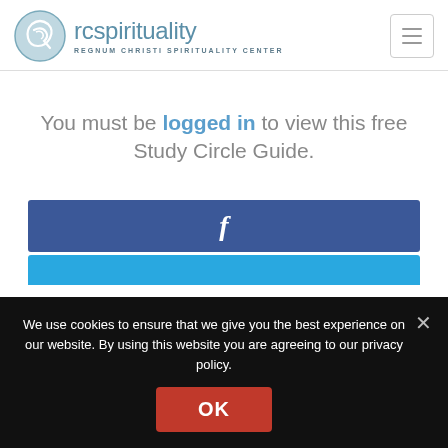[Figure (logo): RC Spirituality logo: circular icon with stylized RC monogram in teal/grey, text 'rcspirituality' beside it, tagline 'REGNUM CHRISTI SPIRITUALITY CENTER' below]
You must be logged in to view this free Study Circle Guide.
[Figure (screenshot): Facebook login button (dark blue bar with white 'f' icon)]
[Figure (screenshot): Twitter/social login button (light blue bar, partially visible)]
We use cookies to ensure that we give you the best experience on our website. By using this website you are agreeing to our privacy policy.
OK